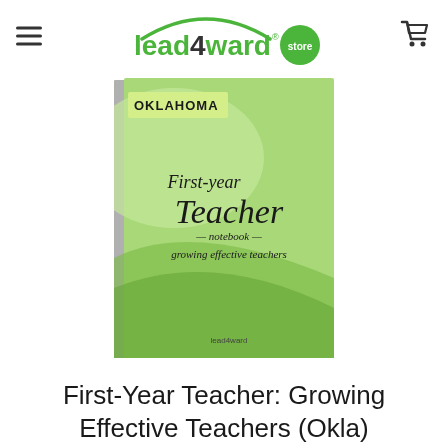lead4ward store
[Figure (photo): Book cover: Oklahoma First-Year Teacher Notebook – Growing Effective Teachers, green cover with swirl design]
First-Year Teacher: Growing Effective Teachers (Okla)